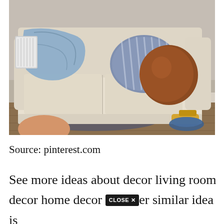[Figure (photo): A cream/beige upholstered sofa with three cushions. A light blue throw blanket is draped over the left side. Two decorative pillows are on the right: a blue striped pillow and a rust/brown velvet pillow. In the foreground bottom-left is a partial view of what appears to be a doll or toy head. On the floor in the bottom right are some toys and items. The sofa sits on a dark rug on hardwood flooring, against a gray-beige wall.]
Source: pinterest.com
See more ideas about decor living room decor home decor [CLOSE X] er similar idea is